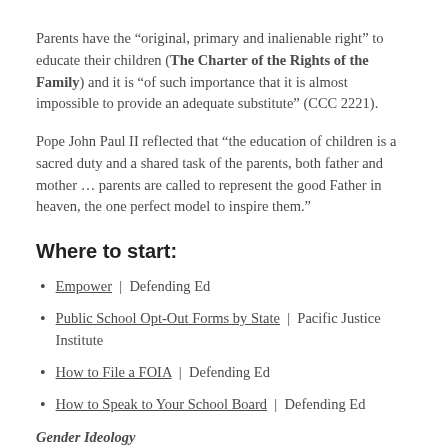Parents have the “original, primary and inalienable right” to educate their children (The Charter of the Rights of the Family) and it is “of such importance that it is almost impossible to provide an adequate substitute” (CCC 2221).
Pope John Paul II reflected that “the education of children is a sacred duty and a shared task of the parents, both father and mother … parents are called to represent the good Father in heaven, the one perfect model to inspire them.”
Where to start:
Empower | Defending Ed
Public School Opt-Out Forms by State | Pacific Justice Institute
How to File a FOIA | Defending Ed
How to Speak to Your School Board | Defending Ed
Gender Ideology